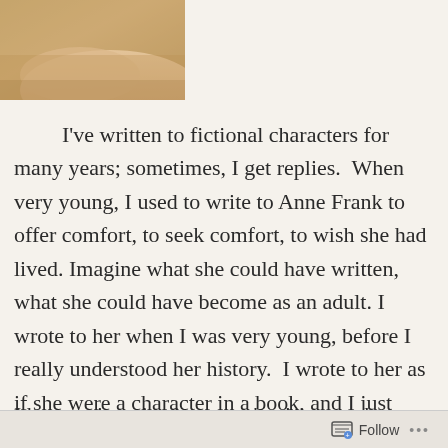[Figure (photo): Partial photo of a person's hand or arm resting on a surface, cropped at top-left of page]
I've written to fictional characters for many years; sometimes, I get replies.  When very young, I used to write to Anne Frank to offer comfort, to seek comfort, to wish she had lived. Imagine what she could have written, what she could have become as an adult. I wrote to her when I was very young, before I really understood her history.  I wrote to her as if she were a character in a book, and I just loved her.
I have written in characters' voices to other
Follow  •••